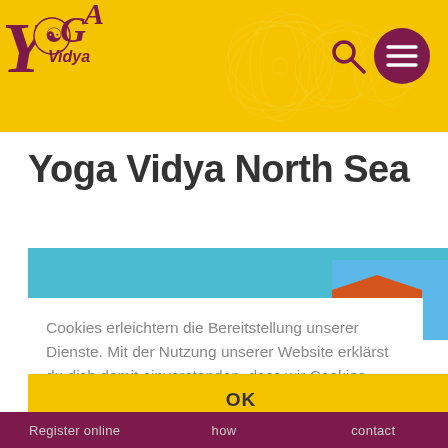[Figure (logo): Yoga Vidya logo with stylized Y letters in dark red/maroon and gold text on yellow banner header]
Yoga Vidya North Sea
[Figure (photo): Partial view of a brick building with red/orange roof under blue sky]
Cookies erleichtern die Bereitstellung unserer Dienste. Mit der Nutzung unserer Website erklärst du dich damit einverstanden, dass wir Cookies verwenden. Mehr Infos
OK
Register online   how   contact